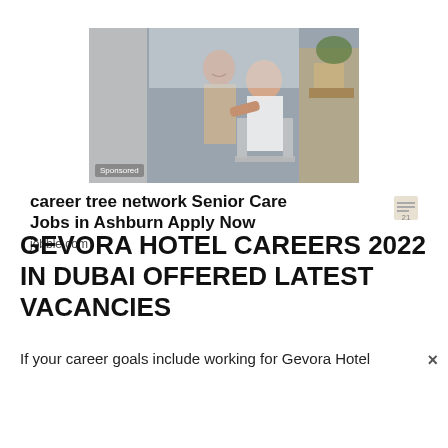[Figure (photo): Two women, one younger (caregiver) and one older (patient with walker), in a home care setting. A gray/white vertical bar is partially visible on the left side of the image.]
Sponsored
career tree network Senior Care Jobs in Ashburn Apply Now
jobble.com
GEVORA HOTEL CAREERS 2022 IN DUBAI OFFERED LATEST VACANCIES
If your career goals include working for Gevora Hotel